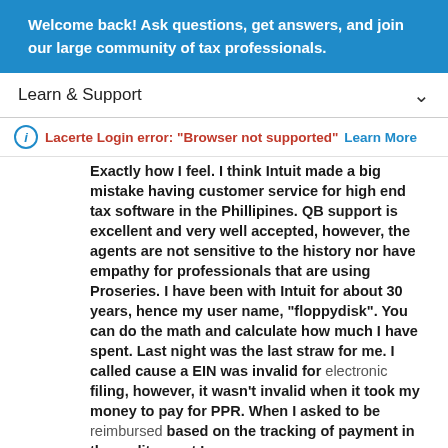Welcome back! Ask questions, get answers, and join our large community of tax professionals.
Learn & Support
Lacerte Login error: "Browser not supported" Learn More
Exactly how I feel. I think Intuit made a big mistake having customer service for high end tax software in the Phillipines. QB support is excellent and very well accepted, however, the agents are not sensitive to the history nor have empathy for professionals that are using Proseries. I have been with Intuit for about 30 years, hence my user name, "floppydisk". You can do the math and calculate how much I have spent. Last night was the last straw for me. I called cause a EIN was invalid for electronic filing, however, it wasn't invalid when it took my money to pay for PPR. When I asked to be reimbursed based on the tracking of payment in the audit report I was